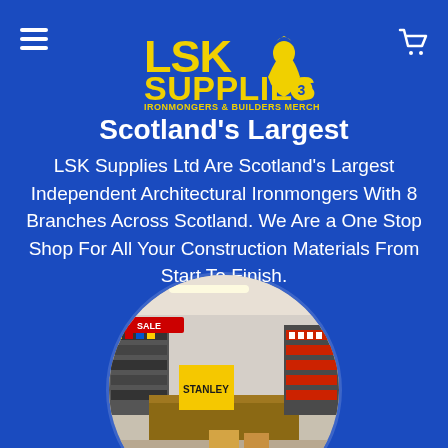[Figure (logo): LSK Supplies logo — yellow text 'LSK SUPPLIES' with tagline 'IRONMONGERS & BUILDERS MERCHANTS' and a yellow figure/chef icon, plus number 3 badge]
Scotland's Largest
LSK Supplies Ltd Are Scotland's Largest Independent Architectural Ironmongers With 8 Branches Across Scotland. We Are a One Stop Shop For All Your Construction Materials From Start To Finish.
[Figure (photo): Circular cropped photo of the interior of an LSK Supplies store showing shelving units with products, a counter/checkout area, and store signage]